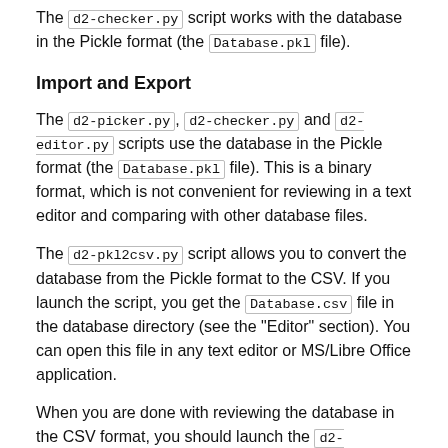The d2-checker.py script works with the database in the Pickle format (the Database.pkl file).
Import and Export
The d2-picker.py, d2-checker.py and d2-editor.py scripts use the database in the Pickle format (the Database.pkl file). This is a binary format, which is not convenient for reviewing in a text editor and comparing with other database files.
The d2-pkl2csv.py script allows you to convert the database from the Pickle format to the CSV. If you launch the script, you get the Database.csv file in the database directory (see the "Editor" section). You can open this file in any text editor or MS/Libre Office application.
When you are done with reviewing the database in the CSV format, you should launch the d2-csv2pkl.py script. It converts the database back to the Pickle format and stores it in